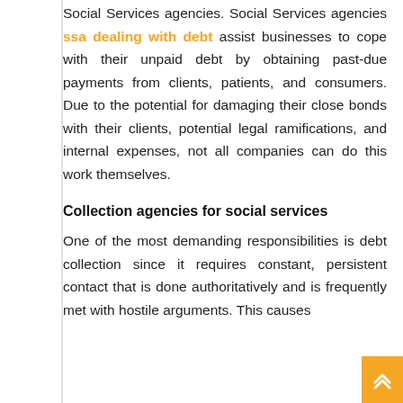Social Services agencies. Social Services agencies ssa dealing with debt assist businesses to cope with their unpaid debt by obtaining past-due payments from clients, patients, and consumers. Due to the potential for damaging their close bonds with their clients, potential legal ramifications, and internal expenses, not all companies can do this work themselves.
Collection agencies for social services
One of the most demanding responsibilities is debt collection since it requires constant, persistent contact that is done authoritatively and is frequently met with hostile arguments. This causes